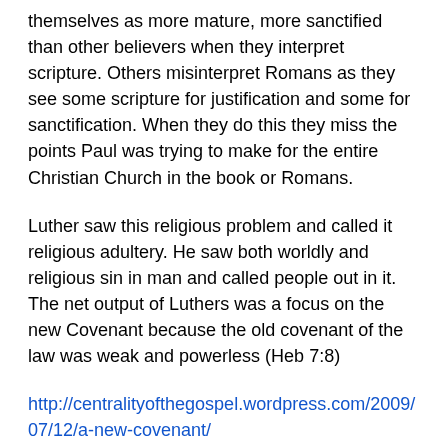themselves as more mature, more sanctified than other believers when they interpret scripture. Others misinterpret Romans as they see some scripture for justification and some for sanctification. When they do this they miss the points Paul was trying to make for the entire Christian Church in the book or Romans.
Luther saw this religious problem and called it religious adultery. He saw both worldly and religious sin in man and called people out in it. The net output of Luthers was a focus on the new Covenant because the old covenant of the law was weak and powerless (Heb 7:8)
http://centralityofthegospel.wordpress.com/2009/07/12/a-new-covenant/